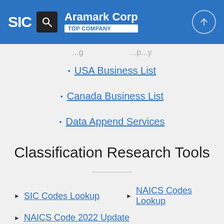SIC | Aramark Corp | TOP COMPANY
...g... ...p...y
USA Business List
Canada Business List
Data Append Services
Classification Research Tools
SIC Codes Lookup
NAICS Codes Lookup
NAICS Code 2022 Update